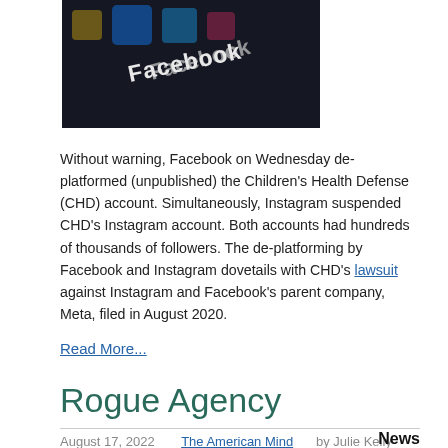[Figure (photo): Close-up of Facebook logo on dark surface with social media icons]
Without warning, Facebook on Wednesday de-platformed (unpublished) the Children's Health Defense (CHD) account. Simultaneously, Instagram suspended CHD's Instagram account. Both accounts had hundreds of thousands of followers. The de-platforming by Facebook and Instagram dovetails with CHD's lawsuit against Instagram and Facebook's parent company, Meta, filed in August 2020.
Read More...
Rogue Agency
August 17, 2022   The American Mind   by Julie Kelly
News
[Figure (photo): Cracked American flag image]